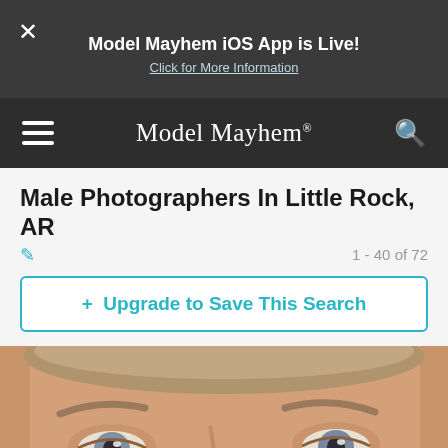Model Mayhem iOS App is Live! Click for More Information
Model Mayhem®
Male Photographers In Little Rock, AR
1 - 40 of 72
+ Upgrade to Save This Search
[Figure (photo): Close-up photo of a young male photographer's face, showing eyes and forehead, with short light hair and blue/grey eyes]